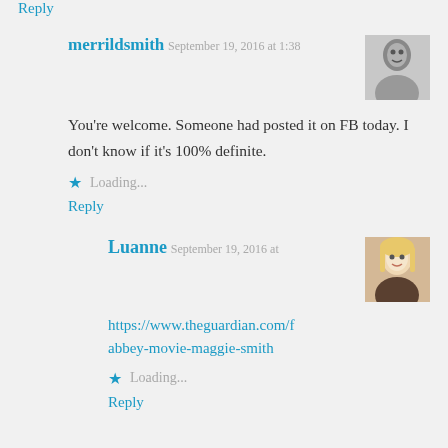Reply
merrildsmith
September 19, 2016 at 1:38
[Figure (photo): Black and white avatar photo of merrildsmith]
You're welcome. Someone had posted it on FB today. I don't know if it's 100% definite.
Loading...
Reply
Luanne
September 19, 2016 at
[Figure (photo): Color avatar photo of Luanne, a blonde woman]
https://www.theguardian.com/f abbey-movie-maggie-smith
Loading...
Reply